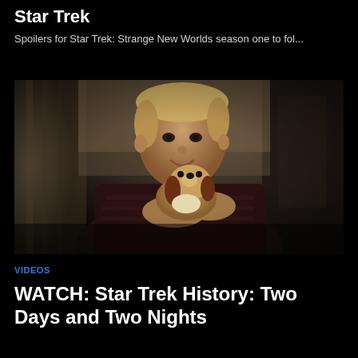Star Trek
Spoilers for Star Trek: Strange New Worlds season one to fol...
[Figure (photo): A man smiling and holding a small beagle puppy, indoors with curtains in the background. Scene from Star Trek.]
VIDEOS
WATCH: Star Trek History: Two Days and Two Nights